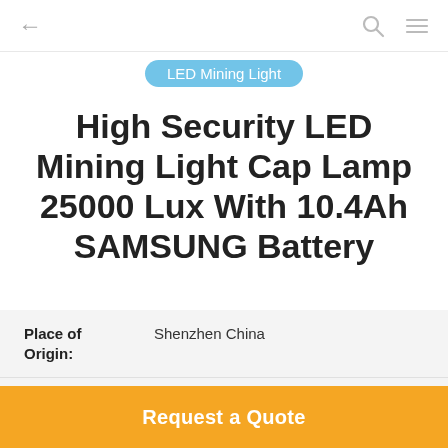← LED Mining Light [search] [menu]
High Security LED Mining Light Cap Lamp 25000 Lux With 10.4Ah SAMSUNG Battery
| Property | Value |
| --- | --- |
| Place of Origin: | Shenzhen China |
| Brand Name: | Green Lighting |
| Certification: | CE, ATEX,ROHS |
Request a Quote